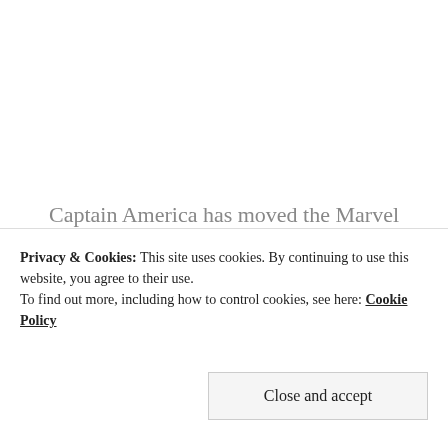Captain America has moved the Marvel movie universe into an exciting new direction
Advertisements
Privacy & Cookies: This site uses cookies. By continuing to use this website, you agree to their use. To find out more, including how to control cookies, see here: Cookie Policy
Close and accept